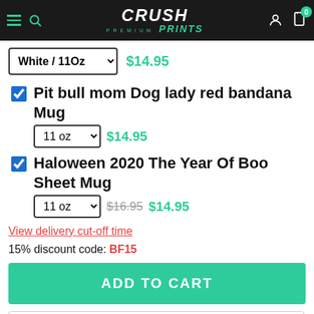Crush Premium Prints — navigation header
White / 11Oz  $14.95
Pit bull mom Dog lady red bandana Mug  11 oz  $14.95
Haloween 2020 The Year Of Boo Sheet Mug  11 oz  $16.95 $14.95
View delivery cut-off time
15% discount code: BF15
ADD TO CART